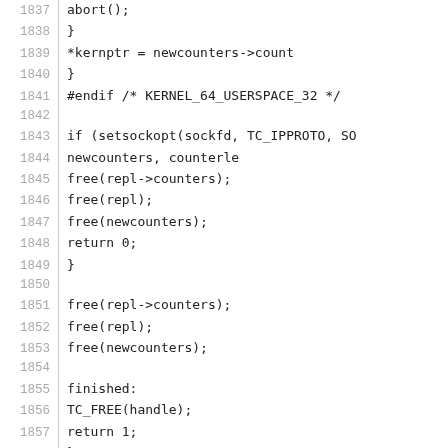Code listing lines 1837-1867 showing C source code for socket/counter operations